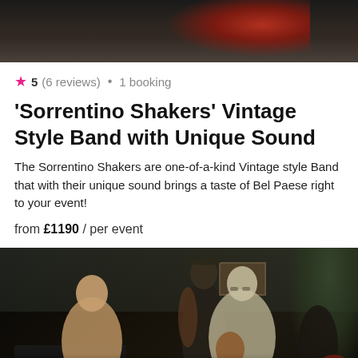[Figure (photo): Top portion of a photo showing musicians performing, dark background with reddish tones]
5 (6 reviews) • 1 booking
'Sorrentino Shakers' Vintage Style Band with Unique Sound
The Sorrentino Shakers are one-of-a-kind Vintage style Band that with their unique sound brings a taste of Bel Paese right to your event!
from £1190 / per event
[Figure (photo): Photo of the Sorrentino Shakers band performing — a pianist on the left in beige jacket, a double bass player standing center in dark cap, a guitarist on the right in light jacket with glasses, and a drummer partially visible far right. Indoor setting with plants and a framed picture on the wall. Watermark 'Odery' visible bottom right.]